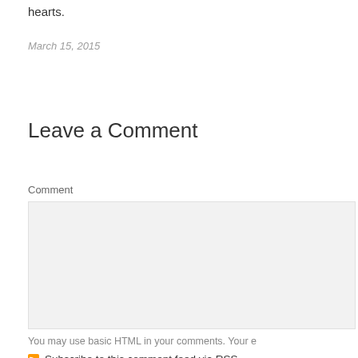hearts.
March 15, 2015
Leave a Comment
Comment
[Figure (other): Comment text area input box with light grey background]
You may use basic HTML in your comments. Your e
Subscribe to this comment feed via RSS